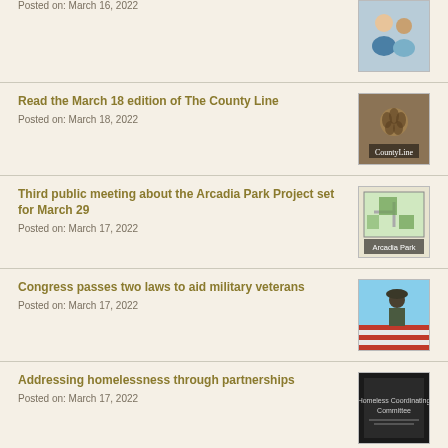Posted on: March 16, 2022
Read the March 18 edition of The County Line
Posted on: March 18, 2022
Third public meeting about the Arcadia Park Project set for March 29
Posted on: March 17, 2022
Congress passes two laws to aid military veterans
Posted on: March 17, 2022
Addressing homelessness through partnerships
Posted on: March 17, 2022
Drop red gorgeous
Posted on: March 16, 2022